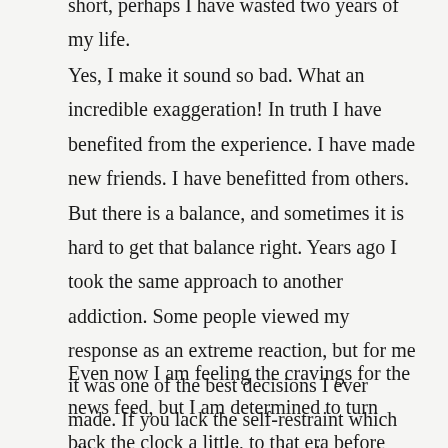short, perhaps I have wasted two years of my life.
Yes, I make it sound so bad. What an incredible exaggeration! In truth I have benefited from the experience. I have made new friends. I have benefitted from others. But there is a balance, and sometimes it is hard to get that balance right. Years ago I took the same approach to another addiction. Some people viewed my response as an extreme reaction, but for me it was one of the best decisions I ever made. If you lack the self-restraint which allows you to act with moderation, sometimes the only course of action is to shut down the avenues to return to it completely.
Even now I am feeling the cravings for the news feed, but I am determined to turn back the clock a little, to that era before permanent connectivity. Who remembers